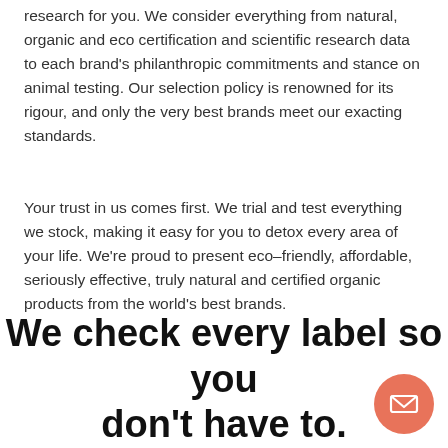research for you. We consider everything from natural, organic and eco certification and scientific research data to each brand's philanthropic commitments and stance on animal testing. Our selection policy is renowned for its rigour, and only the very best brands meet our exacting standards.
Your trust in us comes first. We trial and test everything we stock, making it easy for you to detox every area of your life. We're proud to present eco–friendly, affordable, seriously effective, truly natural and certified organic products from the world's best brands.
We check every label so you don't have to.